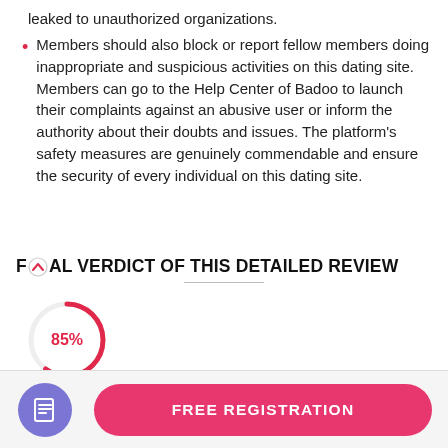leaked to unauthorized organizations.
Members should also block or report fellow members doing inappropriate and suspicious activities on this dating site. Members can go to the Help Center of Badoo to launch their complaints against an abusive user or inform the authority about their doubts and issues. The platform's safety measures are genuinely commendable and ensure the security of every individual on this dating site.
FINAL VERDICT OF THIS DETAILED REVIEW
[Figure (donut-chart): Donut/circular progress chart showing 85% in red/pink color]
[Figure (other): Pink rounded button labeled FREE REGISTRATION with a purple icon circle containing a document/notes icon on the left]